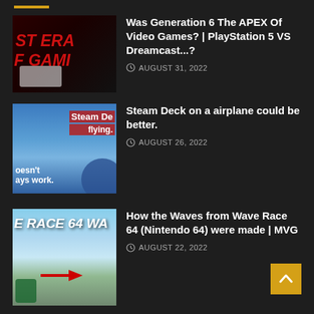Was Generation 6 The APEX Of Video Games?  |  PlayStation 5 VS Dreamcast...? — AUGUST 31, 2022
Steam Deck on a airplane could be better. — AUGUST 26, 2022
How the Waves from Wave Race 64 (Nintendo 64) were made | MVG — AUGUST 22, 2022